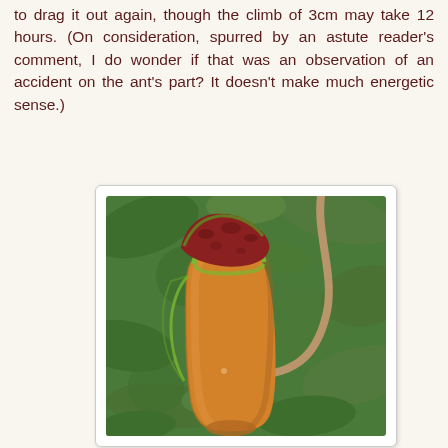to drag it out again, though the climb of 3cm may take 12 hours. (On consideration, spurred by an astute reader's comment, I do wonder if that was an observation of an accident on the ant's part? It doesn't make much energetic sense.)
[Figure (photo): Close-up photograph of a Nepenthes pitcher plant with an orange/yellow pitcher (trap), green rim, and reddish lid, hanging from a tendril coiled at the bottom, with green foliage in the background.]